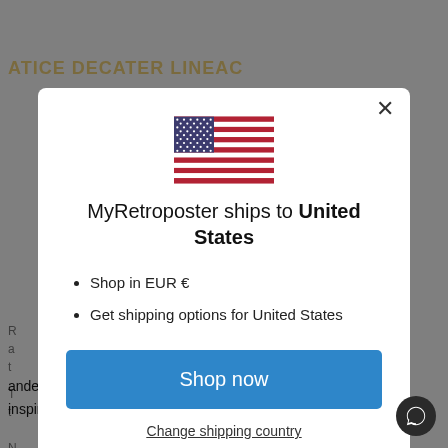[Figure (screenshot): Modal dialog on a website showing shipping destination. Contains US flag, title 'MyRetroposter ships to United States', bullet points about EUR currency and shipping options, a 'Shop now' blue button, and a 'Change shipping country' link. Background shows dimmed webpage content.]
MyRetroposter ships to United States
Shop in EUR €
Get shipping options for United States
Shop now
Change shipping country
andenhance your home decor with a vintage inspired travel poster.